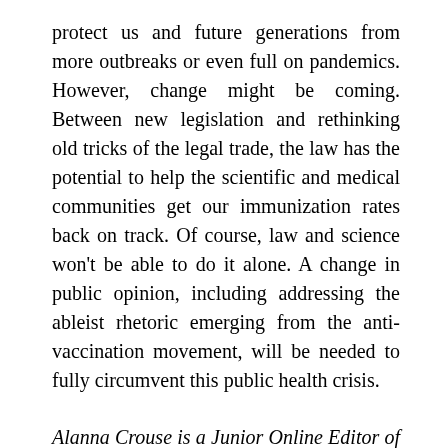protect us and future generations from more outbreaks or even full on pandemics. However, change might be coming. Between new legislation and rethinking old tricks of the legal trade, the law has the potential to help the scientific and medical communities get our immunization rates back on track. Of course, law and science won't be able to do it alone. A change in public opinion, including addressing the ableist rhetoric emerging from the anti-vaccination movement, will be needed to fully circumvent this public health crisis.
Alanna Crouse is a Junior Online Editor of the McGill Journal of Law and Health. Alanna completed a Bachelor of Science at Queen's